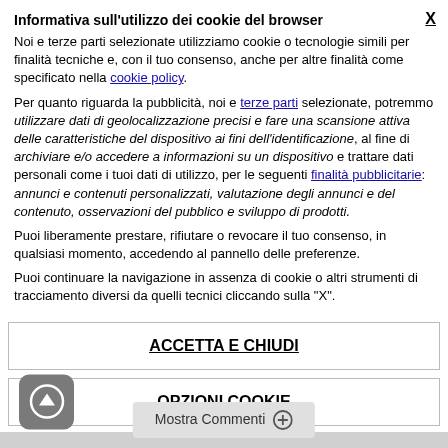Informativa sull'utilizzo dei cookie del browser
Noi e terze parti selezionate utilizziamo cookie o tecnologie simili per finalità tecniche e, con il tuo consenso, anche per altre finalità come specificato nella cookie policy.
Per quanto riguarda la pubblicità, noi e terze parti selezionate, potremmo utilizzare dati di geolocalizzazione precisi e fare una scansione attiva delle caratteristiche del dispositivo ai fini dell'identificazione, al fine di archiviare e/o accedere a informazioni su un dispositivo e trattare dati personali come i tuoi dati di utilizzo, per le seguenti finalità pubblicitarie: annunci e contenuti personalizzati, valutazione degli annunci e del contenuto, osservazioni del pubblico e sviluppo di prodotti.
Puoi liberamente prestare, rifiutare o revocare il tuo consenso, in qualsiasi momento, accedendo al pannello delle preferenze.
Puoi continuare la navigazione in assenza di cookie o altri strumenti di tracciamento diversi da quelli tecnici cliccando sulla "X".
ACCETTA E CHIUDI
OPZIONI COOKIE
Mostra Commenti